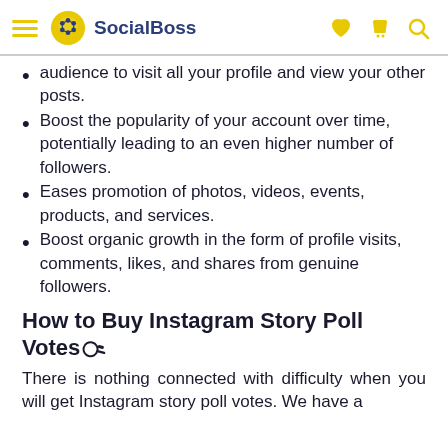SocialBoss
audience to visit all your profile and view your other posts.
Boost the popularity of your account over time, potentially leading to an even higher number of followers.
Eases promotion of photos, videos, events, products, and services.
Boost organic growth in the form of profile visits, comments, likes, and shares from genuine followers.
How to Buy Instagram Story Poll Votes?
There is nothing connected with difficulty when you will get Instagram story poll votes. We have a